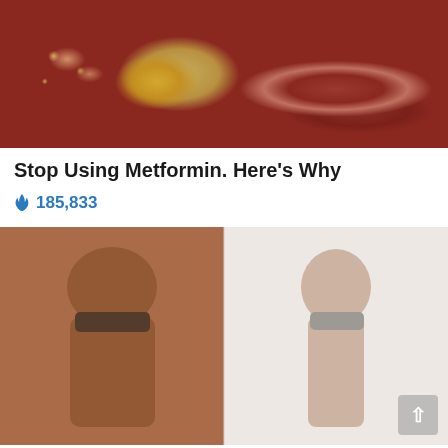[Figure (photo): Close-up macro photo of internal biological tissue, showing what appears to be intestinal or organ tissue with a yellowish-gold mass surrounded by reddish-pink tubular structures]
Stop Using Metformin. Here's Why
🔥 185,833
[Figure (photo): Before and after weight loss comparison photo showing a woman's back from behind. Left side shows heavier build in black bra and pants; right side shows slimmer build in black bra. Woman has tattoos on her back and arms.]
How To Lose 40.5 Lbs In A Month (Eat This